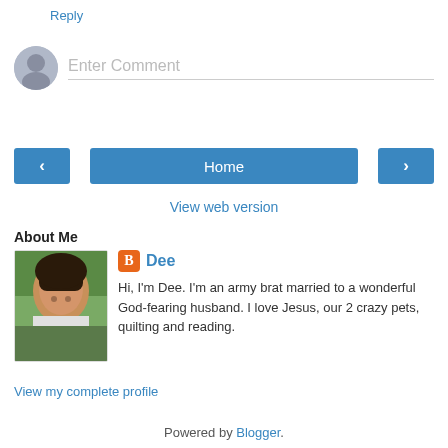Reply
[Figure (other): Comment input area with avatar placeholder and text field showing 'Enter Comment']
[Figure (other): Navigation buttons: left chevron, Home, right chevron]
View web version
About Me
[Figure (photo): Profile photo of Dee, a woman with dark hair and glasses]
Dee
Hi, I'm Dee. I'm an army brat married to a wonderful God-fearing husband. I love Jesus, our 2 crazy pets, quilting and reading.
View my complete profile
Powered by Blogger.